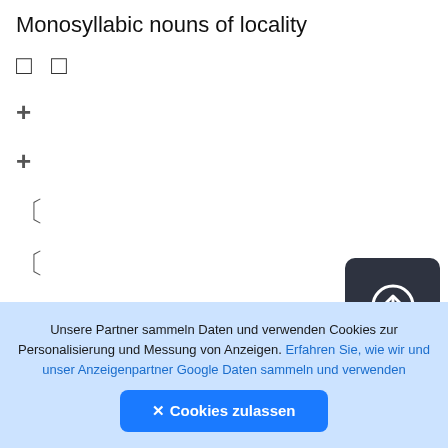Monosyllabic nouns of locality
□ □
+
+
〔
〔
〔
〔
[Figure (other): Dark rounded square button with an upload/arrow-up icon (circle with upward arrow)]
Unsere Partner sammeln Daten und verwenden Cookies zur Personalisierung und Messung von Anzeigen. Erfahren Sie, wie wir und unser Anzeigenpartner Google Daten sammeln und verwenden
✕ Cookies zulassen